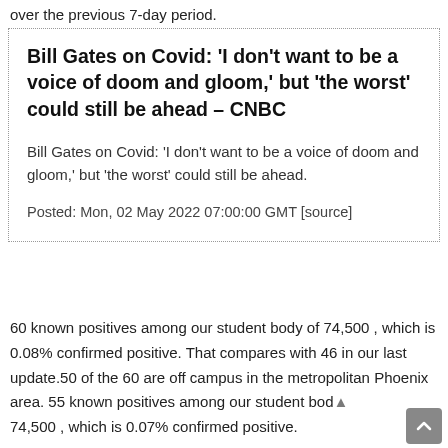over the previous 7-day period.
Bill Gates on Covid: 'I don't want to be a voice of doom and gloom,' but 'the worst' could still be ahead – CNBC
Bill Gates on Covid: 'I don't want to be a voice of doom and gloom,' but 'the worst' could still be ahead.
Posted: Mon, 02 May 2022 07:00:00 GMT [source]
60 known positives among our student body of 74,500 , which is 0.08% confirmed positive. That compares with 46 in our last update.50 of the 60 are off campus in the metropolitan Phoenix area. 55 known positives among our student body 74,500 , which is 0.07% confirmed positive.